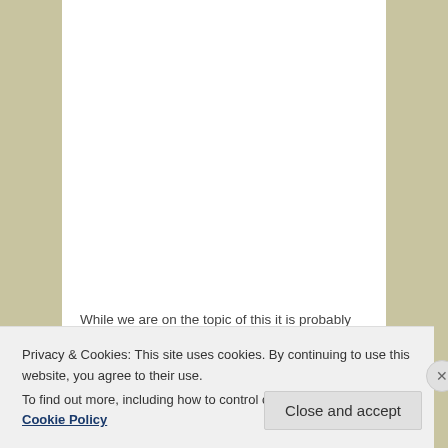While we are on the topic of this it is probably worth considering putting together some resources in a easy to digest format such as lifeline etc, for people to access if they are in distress.
It is also worth considering having a list of paper friendly...
Privacy & Cookies: This site uses cookies. By continuing to use this website, you agree to their use.
To find out more, including how to control cookies, see here: Cookie Policy